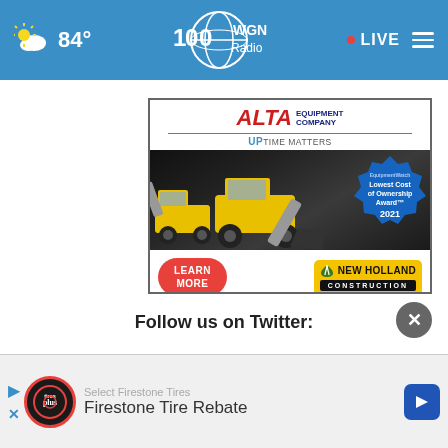84° WGN Radio LIVE
[Figure (illustration): Alta Equipment Company advertisement banner featuring New Holland construction equipment (skid steer loaders), EquipmentWatch Lowest Cost of Ownership Award 2021 badge, Learn More button, and New Holland Construction logo. Tagline: UPTIME MATTERS.]
Follow us on Twitter:
[Figure (illustration): Firestone Tire Rebate advertisement with Tires Plus logo, play button, navigation arrow, and text: Select Firestone Tires / Firestone Tire Rebate]